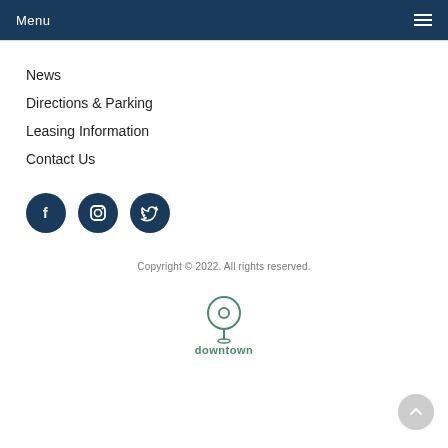Menu
News
Directions & Parking
Leasing Information
Contact Us
[Figure (illustration): Three dark navy circular social media icons: Facebook (f), Instagram (camera), Twitter (bird)]
Copyright © 2022. All rights reserved.
[Figure (logo): Downtown New Haven logo — a map pin outline above the text 'downtown new haven' in green]